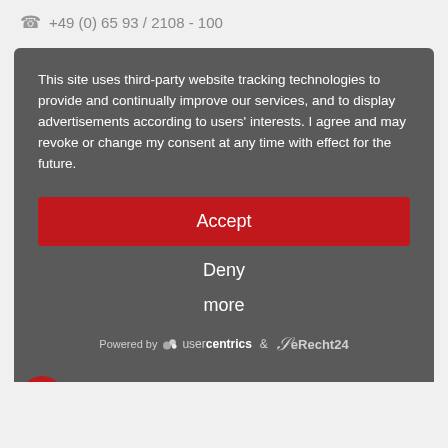+49 (0) 65 93 / 2108 - 100
This site uses third-party website tracking technologies to provide and continually improve our services, and to display advertisements according to users' interests. I agree and may revoke or change my consent at any time with effect for the future.
Accept
Deny
more
Powered by usercentrics & eRecht24